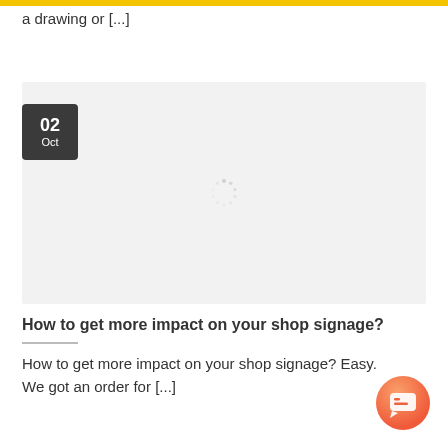a drawing or [...]
[Figure (screenshot): Blog post card with light gray background, a dark date badge showing '02 Oct' in the top-left corner, and a loading spinner in the center.]
How to get more impact on your shop signage?
How to get more impact on your shop signage? Easy. We got an order for [...]
[Figure (illustration): Orange gradient circular chat/support button in the bottom-right corner.]